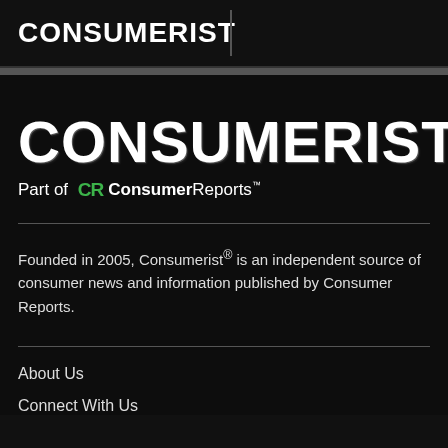CONSUMERIST
[Figure (logo): Large CONSUMERIST logo in white distressed font on black background, with 'Part of CR ConsumerReports' subtitle below]
Founded in 2005, Consumerist® is an independent source of consumer news and information published by Consumer Reports.
About Us
Connect With Us